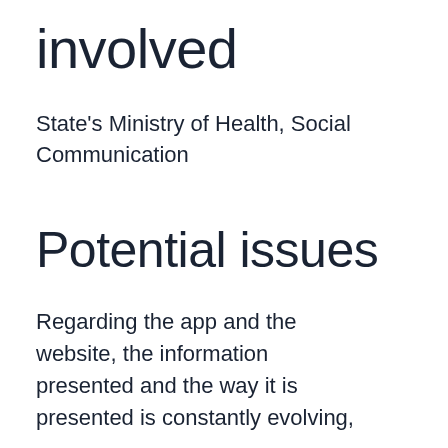involved
State's Ministry of Health, Social Communication
Potential issues
Regarding the app and the website, the information presented and the way it is presented is constantly evolving,